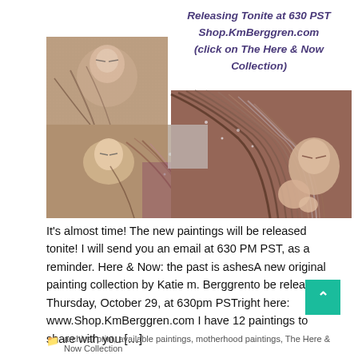[Figure (photo): Collage of artwork paintings showing mother and child figures with flowing hair, textured media paintings by Katie m. Berggren. Text overlay reads 'Releasing Tonite at 630 PST Shop.KmBerggren.com (click on The Here & Now Collection)']
It's almost time! The new paintings will be released tonite! I will send you an email at 630 PM PST, as a reminder. Here & Now: the past is ashesA new original painting collection by Katie m. Berggrento be released Thursday, October 29, at 630pm PSTright here: www.Shop.KmBerggren.com I have 12 paintings to share with you […]
archival print, available paintings, motherhood paintings, The Here & Now Collection